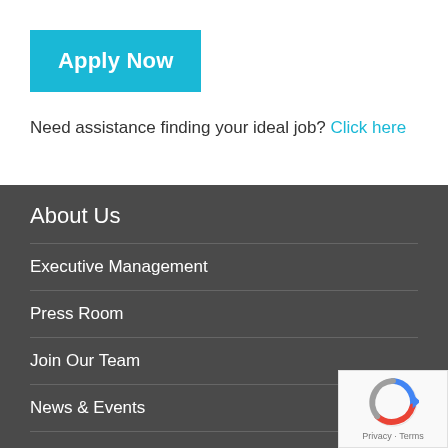Apply Now
Need assistance finding your ideal job? Click here
About Us
Executive Management
Press Room
Join Our Team
News & Events
Location